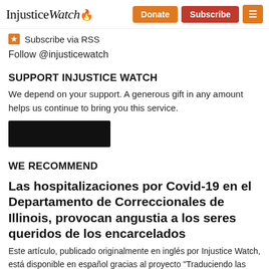InjusticeWatch | Donate | Subscribe | Menu
Subscribe via RSS
Follow @injusticewatch
SUPPORT INJUSTICE WATCH
We depend on your support. A generous gift in any amount helps us continue to bring you this service.
[Figure (other): Dark donate button (redacted/blacked out)]
WE RECOMMEND
Las hospitalizaciones por Covid-19 en el Departamento de Correccionales de Illinois, provocan angustia a los seres queridos de los encarcelados
Este artículo, publicado originalmente en inglés por Injustice Watch, está disponible en español gracias al proyecto "Traduciendo las noticias de Chicago", del Instituto de Noticias